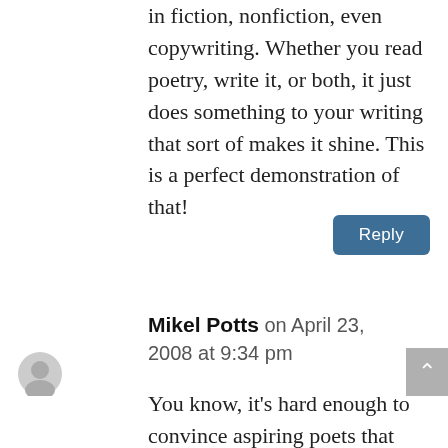in fiction, nonfiction, even copywriting. Whether you read poetry, write it, or both, it just does something to your writing that sort of makes it shine. This is a perfect demonstration of that!
Reply
Mikel Potts on April 23, 2008 at 9:34 pm
You know, it's hard enough to convince aspiring poets that their is a difference between prose and poetry to begin with, and here you